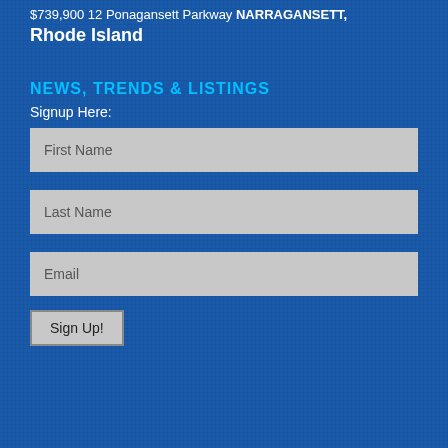$739,900 12 Ponagansett Parkway NARRAGANSETT, Rhode Island
NEWS, TRENDS & LISTINGS
Signup Here:
First Name
Last Name
Email
Sign Up!